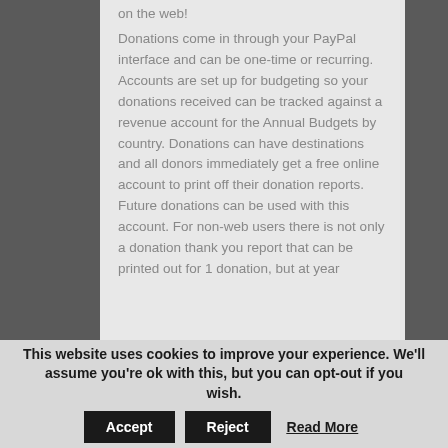on the web! Donations come in through your PayPal interface and can be one-time or recurring. Accounts are set up for budgeting so your donations received can be tracked against a revenue account for the Annual Budgets by country. Donations can have destinations and all donors immediately get a free online account to print off their donation reports. Future donations can be used with this account. For non-web users there is not only a donation thank you report that can be printed out for 1 donation, but at year
This website uses cookies to improve your experience. We'll assume you're ok with this, but you can opt-out if you wish. Accept Reject Read More